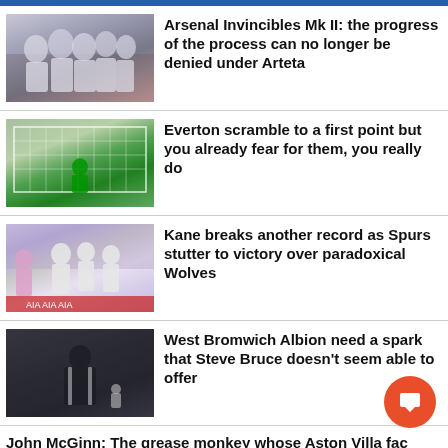[Figure (photo): Football players celebrating in white jerseys huddled together on a pitch]
Arsenal Invincibles Mk II: the progress of the process can no longer be denied under Arteta
[Figure (photo): Football goal net with green goalkeeper in background on grass pitch]
Everton scramble to a first point but you already fear for them, you really do
[Figure (photo): Football players on pitch, crowd in background, player in pink on left]
Kane breaks another record as Spurs stutter to victory over paradoxical Wolves
[Figure (photo): Footballer seen from behind in dark stadium, crowd visible]
West Bromwich Albion need a spark that Steve Bruce doesn't seem able to offer
John McGinn: The grease monkey whose Aston Villa fac